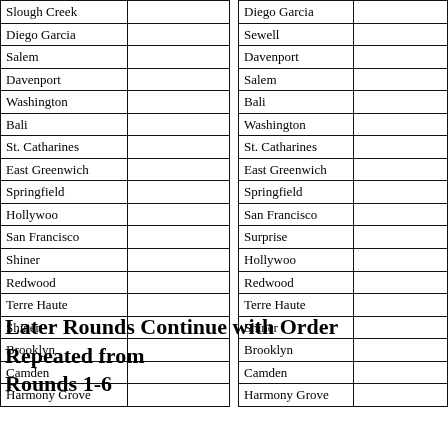| Location |  |
| --- | --- |
| Slough Creek |  |
| Diego Garcia |  |
| Salem |  |
| Davenport |  |
| Washington |  |
| Bali |  |
| St. Catharines |  |
| East Greenwich |  |
| Springfield |  |
| Hollywoo |  |
| San Francisco |  |
| Shiner |  |
| Redwood |  |
| Terre Haute |  |
| Shiner |  |
| Brooklyn |  |
| Camden |  |
| Harmony Grove |  |
| Location |  |
| --- | --- |
| Diego Garcia |  |
| Sewell |  |
| Davenport |  |
| Salem |  |
| Bali |  |
| Washington |  |
| St. Catharines |  |
| East Greenwich |  |
| Springfield |  |
| San Francisco |  |
| Surprise |  |
| Hollywoo |  |
| Redwood |  |
| Terre Haute |  |
| Shiner |  |
| Brooklyn |  |
| Camden |  |
| Harmony Grove |  |
Later Rounds Continue with Order Repeated from Rounds 1-6